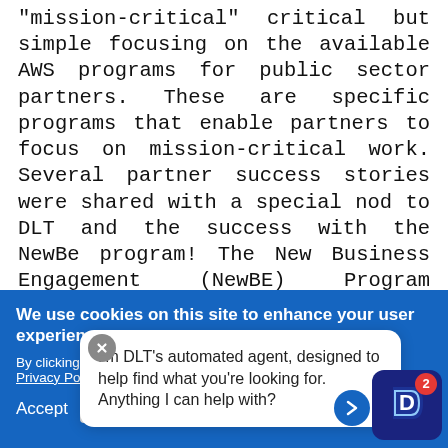“mission-critical” critical but simple focusing on the available AWS programs for public sector partners. These are specific programs that enable partners to focus on mission-critical work. Several partner success stories were shared with a special nod to DLT and the success with the NewBe program! The New Business Engagement (NewBE) Program provides additional
We use cookies on this site to enhance your user experience
By clicking th... Privacy Policy...
Accept  No...
I’m DLT’s automated agent, designed to help find what you’re looking for. Anything I can help with?